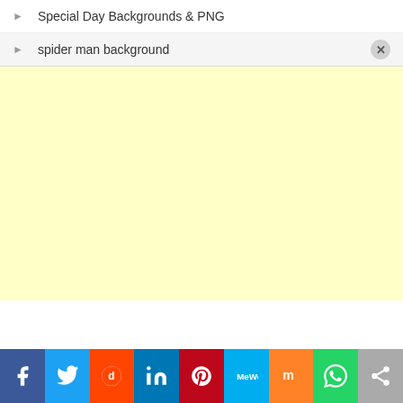Special Day Backgrounds & PNG
spider man background
[Figure (other): Yellow advertisement placeholder area]
Social sharing bar: Facebook, Twitter, Reddit, LinkedIn, Pinterest, MeWe, Mix, WhatsApp, Share